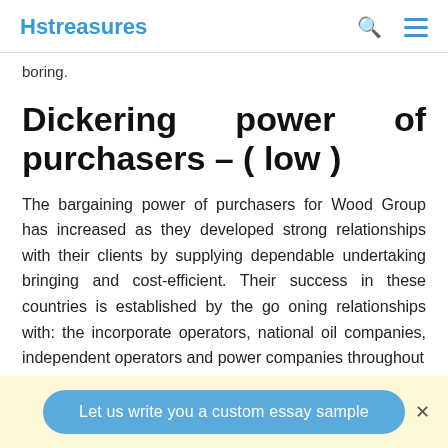Hstreasures
boring.
Dickering power of purchasers – ( low )
The bargaining power of purchasers for Wood Group has increased as they developed strong relationships with their clients by supplying dependable undertaking bringing and cost-efficient. Their success in these countries is established by the go oning relationships with: the incorporate operators, national oil companies, independent operators and power companies throughout
Let us write you a custom essay sample